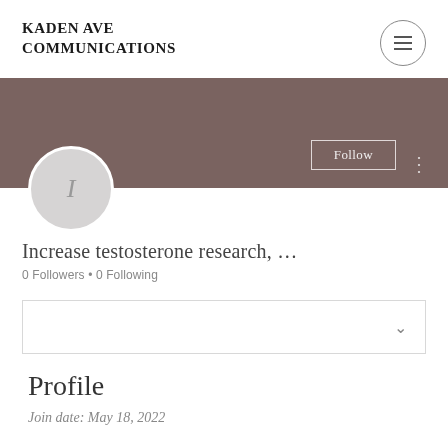KADEN AVE COMMUNICATIONS
[Figure (screenshot): Social media profile page screenshot showing a brownish-grey cover banner with a Follow button, a circular profile avatar with the letter I, profile name 'Increase testosterone research, ...', 0 Followers • 0 Following, a dropdown box, Profile section heading, and Join date: May 18, 2022]
Increase testosterone research, ...
0 Followers • 0 Following
Profile
Join date: May 18, 2022